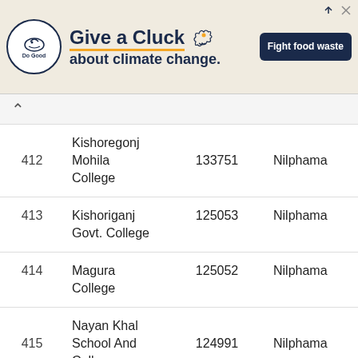[Figure (other): Advertisement banner: 'Give a Cluck about climate change. Fight food waste' with Do Good logo and chicken illustration]
| # | Name | Code | District |
| --- | --- | --- | --- |
| 412 | Kishoregonj Mohila College | 133751 | Nilphama |
| 413 | Kishoriganj Govt. College | 125053 | Nilphama |
| 414 | Magura College | 125052 | Nilphama |
| 415 | Nayan Khal School And College | 124991 | Nilphama |